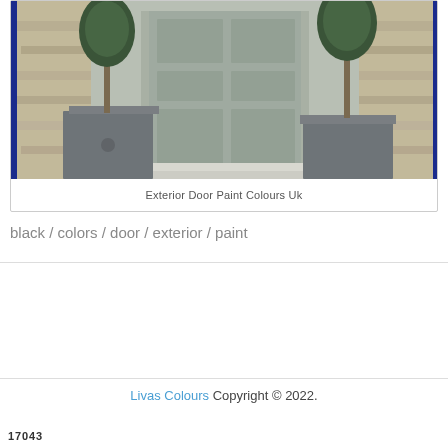[Figure (photo): Photo of an exterior door painted in grey/sage color, flanked by two large square zinc planters with trimmed topiary trees. Stone wall visible in background. Blue vertical stripe borders on left and right edges of image.]
Exterior Door Paint Colours Uk
black / colors / door / exterior / paint
Livas Colours Copyright © 2022.
17043